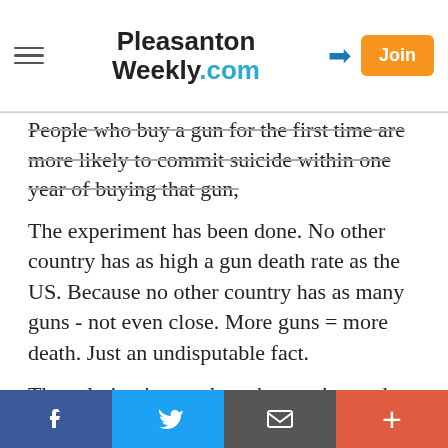Pleasanton Weekly.com
People who buy a gun for the first time are more likely to commit suicide within one year of buying that gun,
The experiment has been done. No other country has as high a gun death rate as the US. Because no other country has as many guns - not even close. More guns = more death. Just an undisputable fact.
The solution is to reduce the number and types of guns. nothing else will work nearly as well, or even well at all. That is proven by dozens of other countries already.
Report Objectionable Content
Posted by Mike IR... resident of Pleasanton, March...
Facebook  Twitter  Mail  +